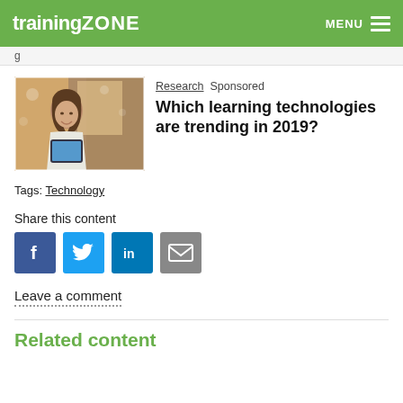trainingZONE  MENU
[Figure (photo): Woman smiling while using a tablet device in a modern interior setting]
Research  Sponsored
Which learning technologies are trending in 2019?
Tags: Technology
Share this content
[Figure (infographic): Social share buttons: Facebook, Twitter, LinkedIn, Email]
Leave a comment
Related content